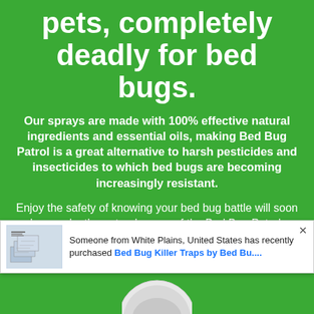pets, completely deadly for bed bugs.
Our sprays are made with 100% effective natural ingredients and essential oils, making Bed Bug Patrol is a great alternative to harsh pesticides and insecticides to which bed bugs are becoming increasingly resistant.
Enjoy the safety of knowing your bed bug battle will soon be won by the natural power of the Bed Bug Patrol.
Someone from White Plains, United States has recently purchased Bed Bug Killer Traps by Bed Bu....